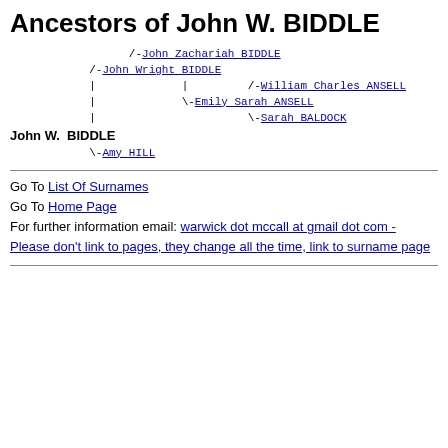Ancestors of John W. BIDDLE
[Figure (other): Genealogical ancestor tree for John W. BIDDLE showing family connections in monospace text format with names: John Zachariah BIDDLE, John Wright BIDDLE, William Charles ANSELL, Emily Sarah ANSELL, Sarah BALDOCK, John W. BIDDLE, Amy HILL]
Go To List Of Surnames
Go To Home Page
For further information email: warwick dot mccall at gmail dot com - Please don't link to pages, they change all the time, link to surname page